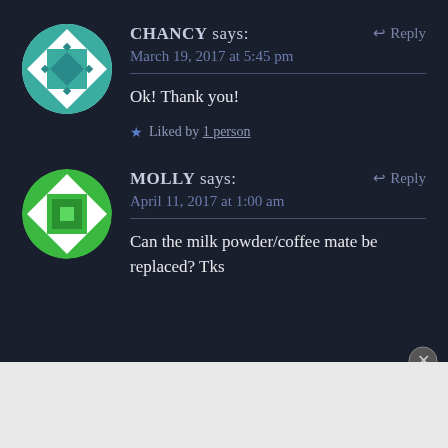[Figure (illustration): Teal/white geometric patterned avatar circle for user CHANCY]
CHANCY says:
↩ Reply
March 19, 2017 at 5:45 pm
Ok! Thank you!
★ Liked by 1 person
[Figure (illustration): Green/white geometric patterned avatar circle for user MOLLY]
MOLLY says:
↩ Reply
April 11, 2017 at 1:00 am
Can the milk powder/coffee mate be replaced? Tks
Advertisements